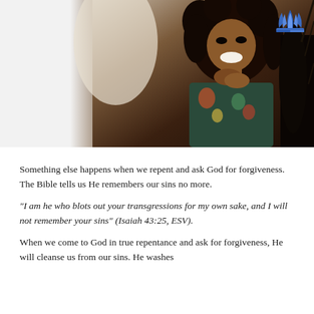[Figure (photo): A joyful Black woman with curly hair, eyes looking upward, hands clasped near her chin, wearing a floral top, against a bright background.]
[Figure (logo): Seventh-day Adventist Church logo: blue flame/book symbol]
Something else happens when we repent and ask God for forgiveness. The Bible tells us He remembers our sins no more.
“I am he who blots out your transgressions for my own sake, and I will not remember your sins” (Isaiah 43:25, ESV).
When we come to God in true repentance and ask for forgiveness, He will cleanse us from our sins. He washes